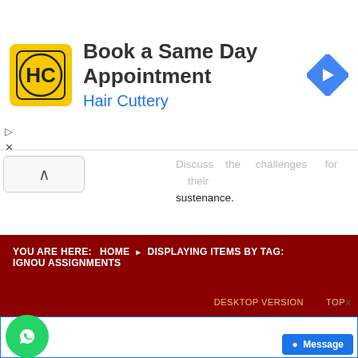[Figure (screenshot): Advertisement banner for Hair Cuttery with logo, title 'Book a Same Day Appointment', navigation arrow icon]
Discuss the challenges for their sustenance.
Published in  Ignou mba assignments  |
Read more...
YOU ARE HERE:  HOME  ▶  DISPLAYING ITEMS BY TAG:  IGNOU ASSIGNMENTS     DESKTOP VERSION   TOP
[Figure (screenshot): Bottom advertisement strip with WhatsApp button and Message chat button]